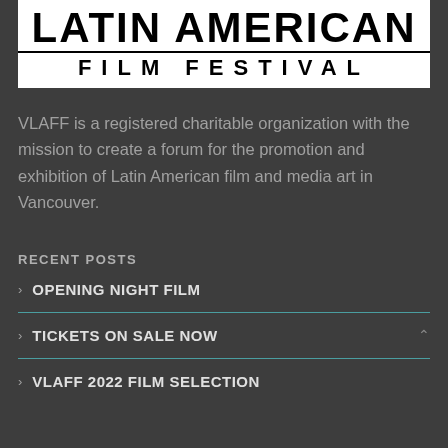[Figure (logo): Vancouver Latin American Film Festival logo. Bold black text reading 'LATIN AMERICAN' above a horizontal rule, then 'FILM FESTIVAL' in spaced capital letters on white background.]
VLAFF is a registered charitable organization with the mission to create a forum for the promotion and exhibition of Latin American film and media art in Vancouver.
RECENT POSTS
OPENING NIGHT FILM
TICKETS ON SALE NOW
VLAFF 2022 FILM SELECTION